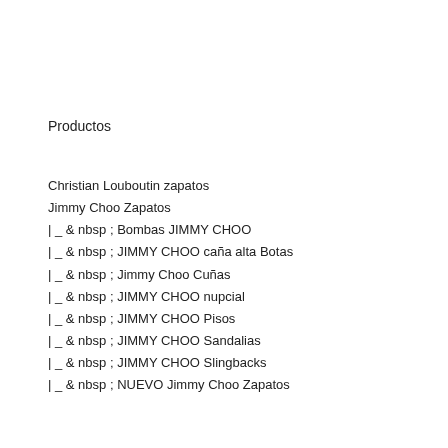Productos
Christian Louboutin zapatos
Jimmy Choo Zapatos
| _ & nbsp ; Bombas JIMMY CHOO
| _ & nbsp ; JIMMY CHOO caña alta Botas
| _ & nbsp ; Jimmy Choo Cuñas
| _ & nbsp ; JIMMY CHOO nupcial
| _ & nbsp ; JIMMY CHOO Pisos
| _ & nbsp ; JIMMY CHOO Sandalias
| _ & nbsp ; JIMMY CHOO Slingbacks
| _ & nbsp ; NUEVO Jimmy Choo Zapatos